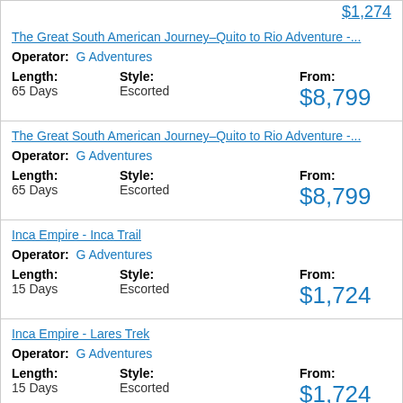$1,274 (partial, top card)
The Great South American Journey–Quito to Rio Adventure -... | Operator: G Adventures | Length: 65 Days | Style: Escorted | From: $8,799
The Great South American Journey–Quito to Rio Adventure -... | Operator: G Adventures | Length: 65 Days | Style: Escorted | From: $8,799
Inca Empire - Inca Trail | Operator: G Adventures | Length: 15 Days | Style: Escorted | From: $1,724
Inca Empire - Lares Trek | Operator: G Adventures | Length: 15 Days | Style: Escorted | From: $1,724